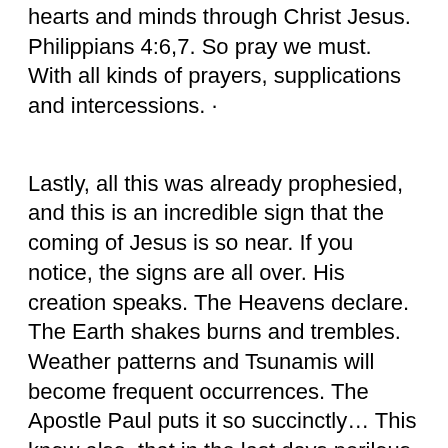hearts and minds through Christ Jesus. Philippians 4:6,7. So pray we must. With all kinds of prayers, supplications and intercessions. ·
Lastly, all this was already prophesied, and this is an incredible sign that the coming of Jesus is so near. If you notice, the signs are all over. His creation speaks. The Heavens declare. The Earth shakes burns and trembles. Weather patterns and Tsunamis will become frequent occurrences. The Apostle Paul puts it so succinctly… This know also, that in the last days perilous times shall come. For men shall be lovers of their own selves, covetous, boasters, proud, blasphemers, disobedient to parents, unthankful, unholy, Without natural